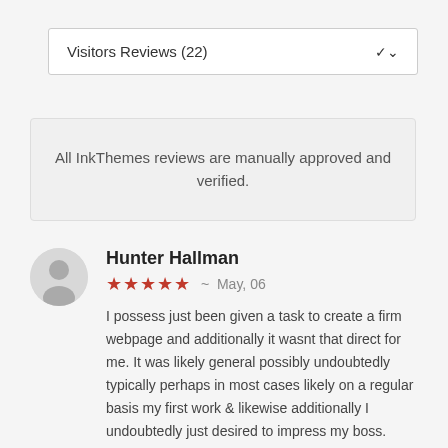Visitors Reviews (22)
All InkThemes reviews are manually approved and verified.
Hunter Hallman
★★★★★  ~  May, 06
I possess just been given a task to create a firm webpage and additionally it wasnt that direct for me. It was likely general possibly undoubtedly typically perhaps in most cases likely on a regular basis my first work & likewise additionally I undoubtedly just desired to impress my boss. While looking for the right webpage theme, I